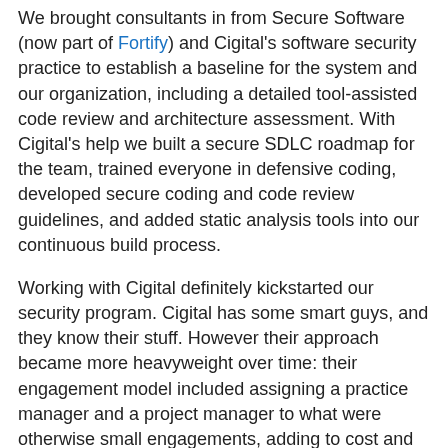We brought consultants in from Secure Software (now part of Fortify) and Cigital's software security practice to establish a baseline for the system and our organization, including a detailed tool-assisted code review and architecture assessment. With Cigital's help we built a secure SDLC roadmap for the team, trained everyone in defensive coding, developed secure coding and code review guidelines, and added static analysis tools into our continuous build process.
Working with Cigital definitely kickstarted our security program. Cigital has some smart guys, and they know their stuff. However their approach became more heavyweight over time: their engagement model included assigning a practice manager and a project manager to what were otherwise small engagements, adding to cost and overhead while contributing little value. Their consulting model is clearly targeted towards bigger companies, with bigger consulting budgets and longer time horizons. We needed practical, concrete, immediate feedback; tools and deliverables that we could understand and use right away; and we worked hard with their team to get this.
As part of our security program we worked with another